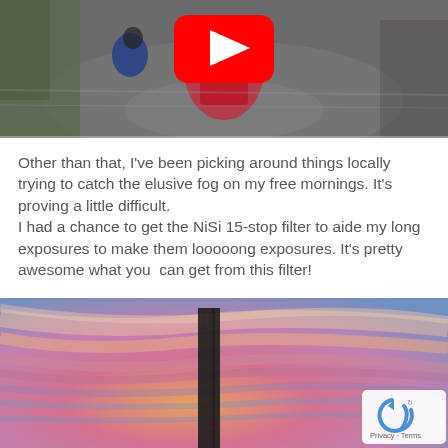[Figure (photo): Person running on road near scooter with YouTube play button overlay, action shot from above]
Other than that, I've been picking around things locally trying to catch the elusive fog on my free mornings. It's proving a little difficult.
I had a chance to get the NiSi 15-stop filter to aide my long exposures to make them looooong exposures. It's pretty awesome what you  can get from this filter!
[Figure (photo): Long-exposure sunset sky with streaking pink and orange clouds around a tall dark tower structure, with reCAPTCHA/privacy badge in corner]